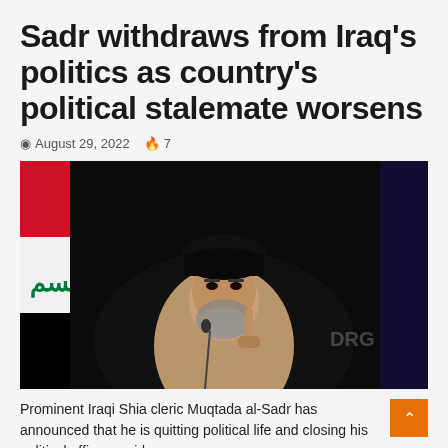Sadr withdraws from Iraq’s politics as country’s political stalemate worsens
© August 29, 2022 🔥 7
[Figure (photo): Muqtada al-Sadr, Iraqi Shia cleric, seated and gesturing with one finger raised, wearing black turban and cleric robes, with Iraqi flag visible in the background and dark curtain behind.]
Prominent Iraqi Shia cleric Muqtada al-Sadr has announced that he is quitting political life and closing his political offices amid…
Read More »